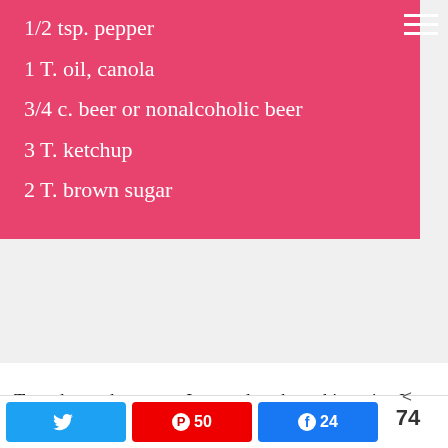1/2 tsp. pepper
1 T. oil, canola
3/4 c. beer or nonalcoholic beer
3 T. ketchup
2 T. brown sugar
To embrace the season I wanted to share this recipe I made years ago, and just came across it again – Slow Cooker Beer Pork Chops. It is so good!
1. Sprinkle both sides of pork chops with salt and pepper.
2. In a large skillet, brown chops in oil on both
Twitter | Pinterest 50 | Facebook 24 | < 74 SHARES